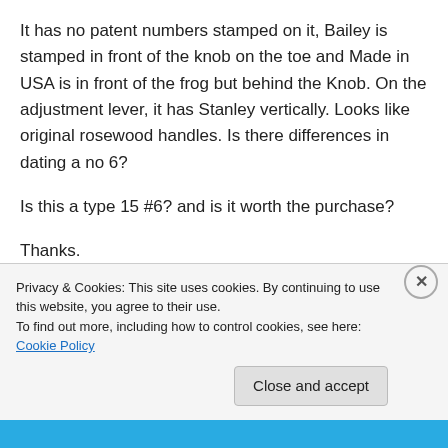It has no patent numbers stamped on it, Bailey is stamped in front of the knob on the toe and Made in USA is in front of the frog but behind the Knob. On the adjustment lever, it has Stanley vertically. Looks like original rosewood handles. Is there differences in dating a no 6?
Is this a type 15 #6? and is it worth the purchase?
Thanks.
Privacy & Cookies: This site uses cookies. By continuing to use this website, you agree to their use.
To find out more, including how to control cookies, see here: Cookie Policy